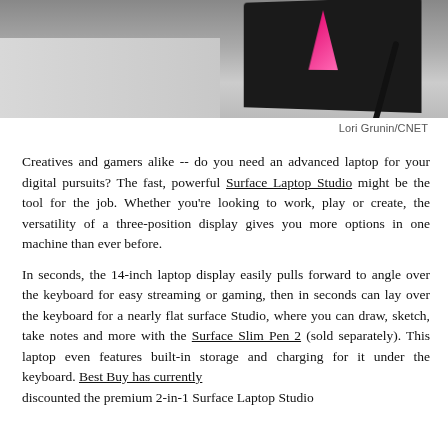[Figure (photo): Photo of a Surface Laptop Studio device lying on a light gray surface, showing the display pulled forward/angled with a pink/magenta accent visible on screen and a stylus pen next to it.]
Lori Grunin/CNET
Creatives and gamers alike -- do you need an advanced laptop for your digital pursuits? The fast, powerful Surface Laptop Studio might be the tool for the job. Whether you're looking to work, play or create, the versatility of a three-position display gives you more options in one machine than ever before.
In seconds, the 14-inch laptop display easily pulls forward to angle over the keyboard for easy streaming or gaming, then in seconds can lay over the keyboard for a nearly flat surface Studio, where you can draw, sketch, take notes and more with the Surface Slim Pen 2 (sold separately). This laptop even features built-in storage and charging for it under the keyboard. Best Buy has currently discounted the premium 2-in-1 Surface Laptop Studio